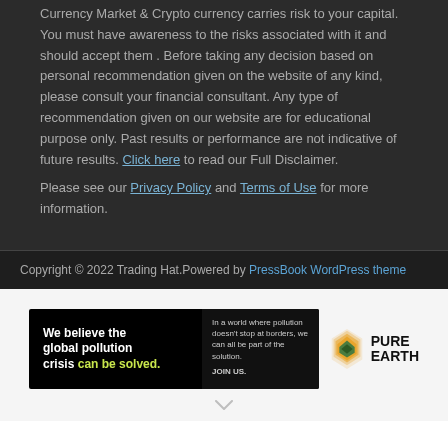Currency Market & Crypto currency carries risk to your capital. You must have awareness to the risks associated with it and should accept them . Before taking any decision based on personal recommendation given on the website of any kind, please consult your financial consultant. Any type of recommendation given on our website are for educational purpose only. Past results or performance are not indicative of future results. Click here to read our Full Disclaimer.
Please see our Privacy Policy and Terms of Use for more information.
Copyright © 2022 Trading Hat.Powered by PressBook WordPress theme
[Figure (infographic): Pure Earth advertisement banner: 'We believe the global pollution crisis can be solved.' with tagline 'In a world where pollution doesn't stop at borders, we can all be part of the solution. JOIN US.' alongside the Pure Earth logo (diamond/leaf icon) and bold text 'PURE EARTH'.]